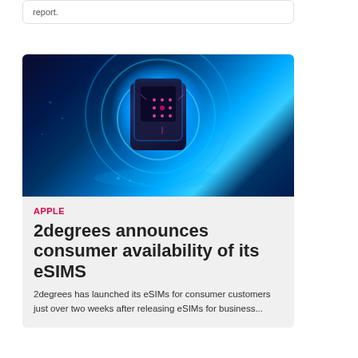report.
[Figure (photo): Futuristic glowing blue digital SIM card or chip hovering above a dark circuit board background with blue neon light rings and digital data patterns]
APPLE
2degrees announces consumer availability of its eSIMS
2degrees has launched its eSIMs for consumer customers just over two weeks after releasing eSIMs for business...